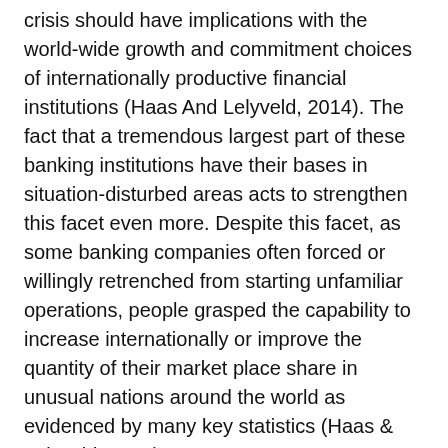crisis should have implications with the world-wide growth and commitment choices of internationally productive financial institutions (Haas And Lelyveld, 2014). The fact that a tremendous largest part of these banking institutions have their bases in situation-disturbed areas acts to strengthen this facet even more. Despite this facet, as some banking companies often forced or willingly retrenched from starting unfamiliar operations, people grasped the capability to increase internationally or improve the quantity of their market place share in unusual nations around the world as evidenced by many key statistics (Haas & Lelyveld, 2014).
With an yearly basis, the quantity of new dangerous banking institution items lowered sharply. The year 2013 observed the admission of 20-two finance institutions as compared to an astounding 100 and 40-two throughout the year 2007. This body is associated with approximately a person-fifth lots of (Haas And Lelyveld, 2014). Away from the remainder of the new items, fewer were with the framework of environment